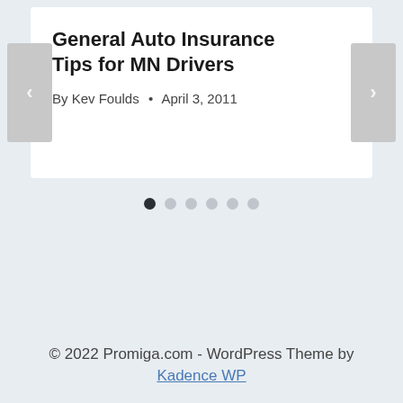General Auto Insurance Tips for MN Drivers
By Kev Foulds • April 3, 2011
[Figure (other): Carousel navigation dots showing 6 slides with the first dot active (dark), rest light gray]
© 2022 Promiga.com - WordPress Theme by Kadence WP